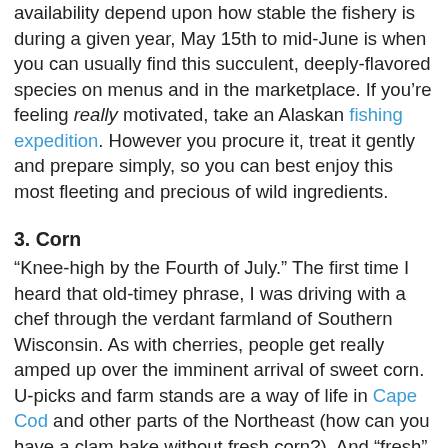availability depend upon how stable the fishery is during a given year, May 15th to mid-June is when you can usually find this succulent, deeply-flavored species on menus and in the marketplace. If you're feeling really motivated, take an Alaskan fishing expedition. However you procure it, treat it gently and prepare simply, so you can best enjoy this most fleeting and precious of wild ingredients.
3. Corn
“Knee-high by the Fourth of July.” The first time I heard that old-timey phrase, I was driving with a chef through the verdant farmland of Southern Wisconsin. As with cherries, people get really amped up over the imminent arrival of sweet corn. U-picks and farm stands are a way of life in Cape Cod and other parts of the Northeast (how can you have a clam bake without fresh corn?). And “fresh” is key. Corn starts to lose its delicate, milky sweetness the moment it’s picked; refrigeration converts the natural sugars into starch. Resist purchasing until the day you need it, and don’t shuck it prior (avoid purchasing pre-